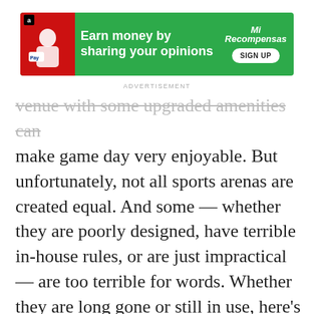[Figure (other): Green advertisement banner with red left panel showing Amazon and PayPal logos, text 'Earn money by sharing your opinions' and a SIGN UP button, with MiRecompensas logo on right]
ADVERTISEMENT
venue with some upgraded amenities can make game day very enjoyable. But unfortunately, not all sports arenas are created equal. And some — whether they are poorly designed, have terrible in-house rules, or are just impractical — are too terrible for words. Whether they are long gone or still in use, here's a look at 15 of the worst venues in North American sports. (How venue No.15 ever came to be is still beyond us.)